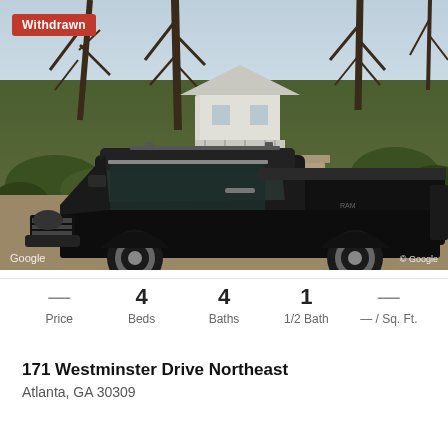[Figure (photo): Street-level Google Maps photo of a house at 171 Westminster Drive Northeast, Atlanta, GA. A black Ram pickup truck is parked in front. The house is visible in the background behind trees and landscaping. A red 'Withdrawn' badge is in the top-left corner. Google watermarks appear at the bottom.]
Withdrawn
— Price  4 Beds  4 Baths  1 1/2 Bath  — / Sq. Ft.
171 Westminster Drive Northeast
Atlanta, GA 30309